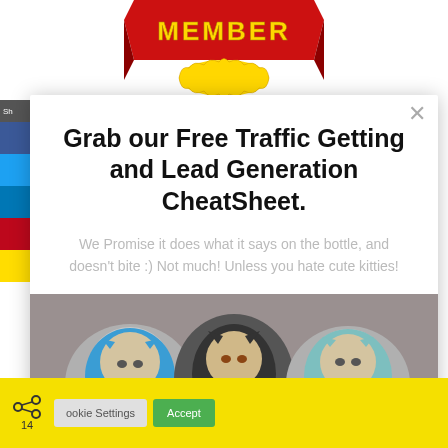[Figure (screenshot): Member ribbon/badge at top of page, red and gold]
[Figure (screenshot): Left sidebar with colored social share buttons (dark, blue Facebook, blue Twitter, red Pinterest, yellow)]
Grab our Free Traffic Getting and Lead Generation CheatSheet.
We Promise it does what it says on the bottle, and doesn't bite :) Not much! Unless you hate cute kitties!
[Figure (photo): Three cats wearing knitted hoodies/hats – one in blue, one in black, one in teal/blue – sitting side by side]
Cookie Settings   Accept
14